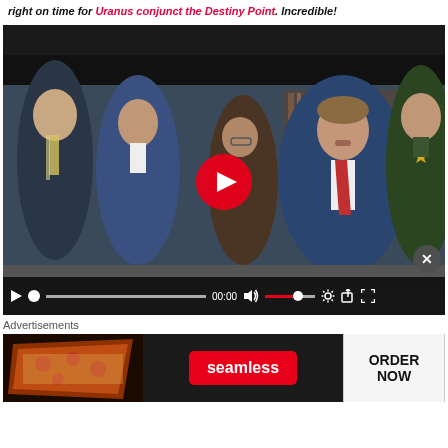right on time for Uranus conjunct the Destiny Point. Incredible!
[Figure (screenshot): Video player showing a press conference scene with several people including a man in a blue suit with a red tie at center, and a sheriff in uniform on the right. A red play button is visible in the center. Video controls bar at bottom shows 00:00 timestamp.]
Advertisements
[Figure (screenshot): Seamless food delivery advertisement banner with pizza image on left, red Seamless logo in center, and ORDER NOW button on right against dark background.]